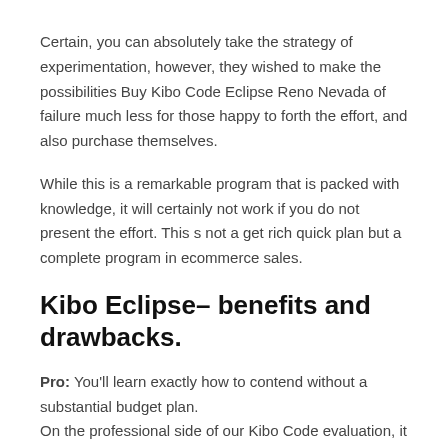Certain, you can absolutely take the strategy of experimentation, however, they wished to make the possibilities Buy Kibo Code Eclipse Reno Nevada of failure much less for those happy to forth the effort, and also purchase themselves.
While this is a remarkable program that is packed with knowledge, it will certainly not work if you do not present the effort. This s not a get rich quick plan but a complete program in ecommerce sales.
Kibo Eclipse– benefits and drawbacks.
Pro: You'll learn exactly how to contend without a substantial budget plan.
On the professional side of our Kibo Code evaluation, it doesn't ask you to do any type of reading of tea leaves. You do not need to predict any kind of fads or do any type of advertising.